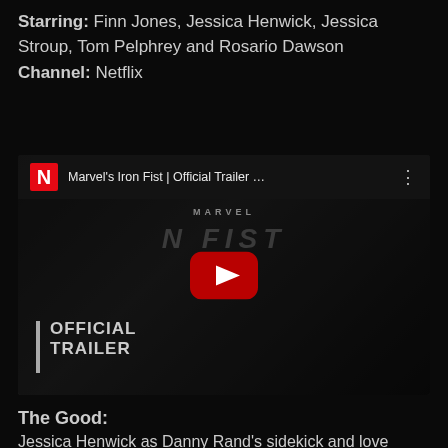Starring: Finn Jones, Jessica Henwick, Jessica Stroup, Tom Pelphrey and Rosario Dawson
Channel: Netflix
[Figure (screenshot): YouTube embed screenshot of Marvel's Iron Fist Official Trailer on Netflix YouTube channel, showing a dark cinematic thumbnail with a man, OFFICIAL TRAILER text overlay, and a YouTube play button in the center.]
The Good:
Jessica Henwick as Danny Rand's sidekick and love interest was very appealing in the role of